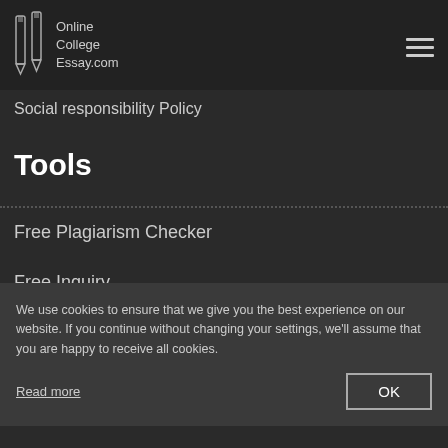Online College Essay.com
Social responsibility Policy
Tools
Free Plagiarism Checker
Free Inquiry
Samples
[Figure (illustration): Blue speech bubble chat icon with three dots]
We use cookies to ensure that we give you the best experience on our website. If you continue without changing your settings, we'll assume that you are happy to receive all cookies.
Read more
OK